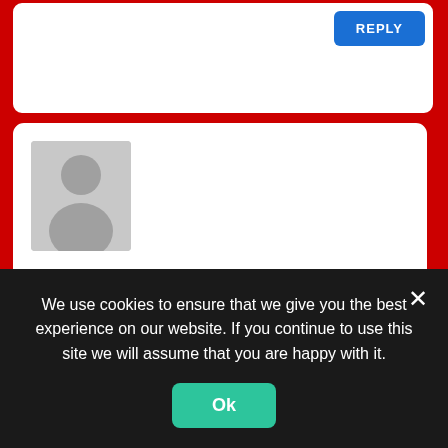[Figure (screenshot): Partial comment card showing only a REPLY button at top]
[Figure (illustration): Generic user avatar silhouette in gray box]
TEMPLE UNDER CONSTRUCTION
January 14, 2021 @ 11:00 pm
Great answers. Thanks not Jon
REPLY
We use cookies to ensure that we give you the best experience on our website. If you continue to use this site we will assume that you are happy with it.
Ok